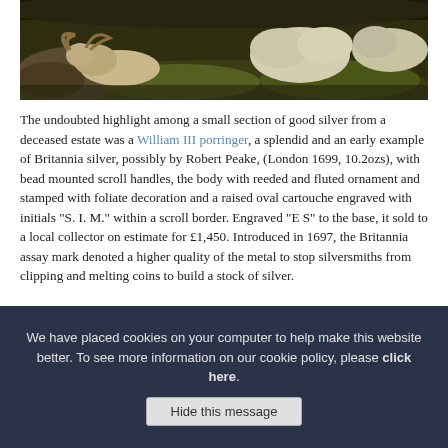[Figure (photo): Painting of sheep resting on a grassy hillside with rocks, dark earthy tones, partial view showing animals in a pastoral scene.]
The undoubted highlight among a small section of good silver from a deceased estate was a William III porringer, a splendid and an early example of Britannia silver, possibly by Robert Peake, (London 1699, 10.2ozs), with bead mounted scroll handles, the body with reeded and fluted ornament and stamped with foliate decoration and a raised oval cartouche engraved with initials "S. I. M." within a scroll border. Engraved "E S" to the base, it sold to a local collector on estimate for £1,450. Introduced in 1697, the Britannia assay mark denoted a higher quality of the metal to stop silversmiths from clipping and melting coins to build a stock of silver.
We have placed cookies on your computer to help make this website better. To see more information on our cookie policy, please click here.
Hide this message